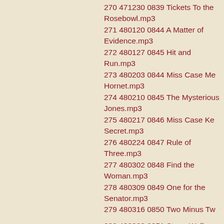270 471230 0839 Tickets To the Rosebowl.mp3
271 480120 0844 A Matter of Evidence.mp3
272 480127 0845 Hit and Run.mp3
273 480203 0844 Miss Case Me Hornet.mp3
274 480210 0845 The Mysterious Jones.mp3
275 480217 0846 Miss Case Ke Secret.mp3
276 480224 0847 Rule of Three.mp3
277 480302 0848 Find the Woman.mp3
278 480309 0849 One for the Senator.mp3
279 480316 0850 Two Minus Tw
280 480323 0851 Stone Wall Alibi.mp3
281 480330 0852 The Funeral Spray.mp3
282 480406 0853 Pink Wonderland.mp3
283 480420 0855 Process X.mp3